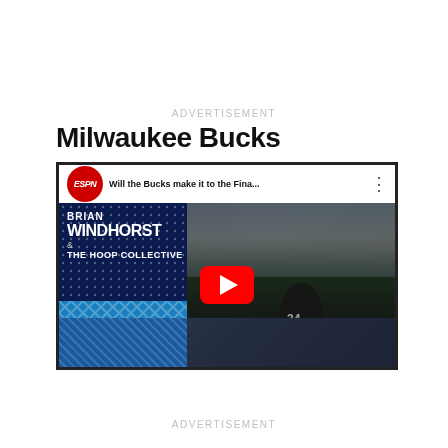ADVERTISEMENT
Milwaukee Bucks
[Figure (screenshot): YouTube video embed showing ESPN's 'Will the Bucks make it to the Fina...' featuring Brian Windhorst & The Hoop Collective podcast thumbnail with a red YouTube play button overlay. Left panel shows ESPN branding with Brian Windhorst & The Hoop Collective text on dark blue background. Right panel shows a basketball player (Giannis Antetokounmpo, #34) celebrating with trophy.]
ADVERTISEMENT